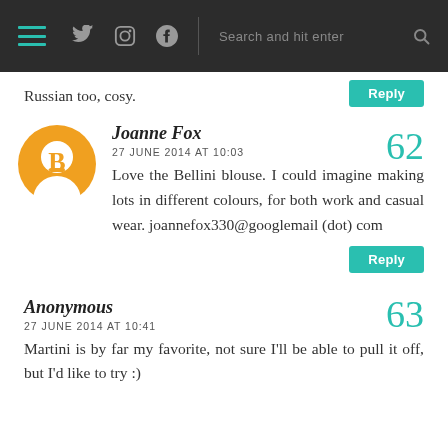Navigation header with hamburger menu, social icons (twitter, instagram, pinterest), search bar
Russian too, cosy.
Reply
Joanne Fox
27 JUNE 2014 AT 10:03
Love the Bellini blouse. I could imagine making lots in different colours, for both work and casual wear. joannefox330@googlemail (dot) com
62
Reply
Anonymous
27 JUNE 2014 AT 10:41
Martini is by far my favorite, not sure I'll be able to pull it off, but I'd like to try :)
63